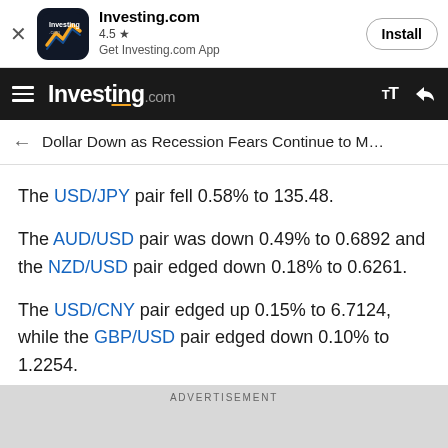[Figure (screenshot): Investing.com app install banner with icon, rating 4.5 stars, and Install button]
Investing.com
Dollar Down as Recession Fears Continue to M…
The USD/JPY pair fell 0.58% to 135.48.
The AUD/USD pair was down 0.49% to 0.6892 and the NZD/USD pair edged down 0.18% to 0.6261.
The USD/CNY pair edged up 0.15% to 6.7124, while the GBP/USD pair edged down 0.10% to 1.2254.
ADVERTISEMENT